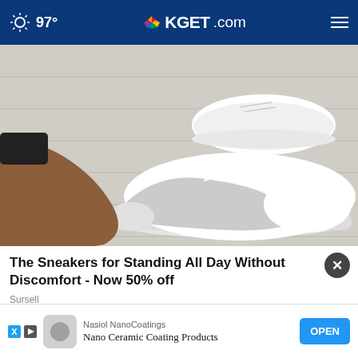97° KGET.com
[Figure (photo): Close-up photo of white and grey athletic sneakers being worn, one shoe being put on by hand, against a light grey wood floor background]
The Sneakers for Standing All Day Without Discomfort - Now 50% off
Sursell
[Figure (screenshot): Bottom advertisement banner: Nasiol NanoCoatings - Nano Ceramic Coating Products with OPEN button]